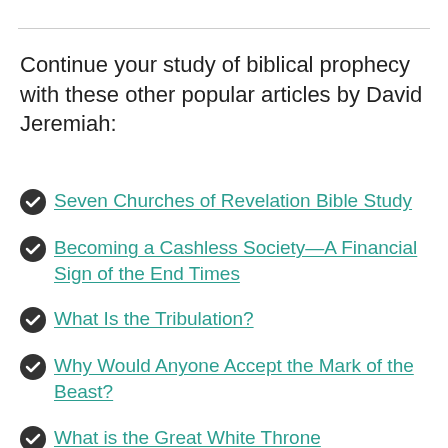Continue your study of biblical prophecy with these other popular articles by David Jeremiah:
Seven Churches of Revelation Bible Study
Becoming a Cashless Society—A Financial Sign of the End Times
What Is the Tribulation?
Why Would Anyone Accept the Mark of the Beast?
What is the Great White Throne